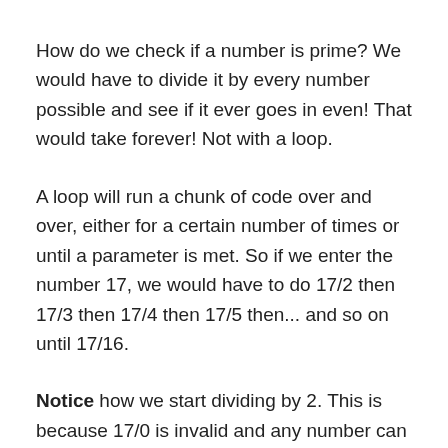How do we check if a number is prime? We would have to divide it by every number possible and see if it ever goes in even! That would take forever! Not with a loop.
A loop will run a chunk of code over and over, either for a certain number of times or until a parameter is met. So if we enter the number 17, we would have to do 17/2 then 17/3 then 17/4 then 17/5 then... and so on until 17/16.
Notice how we start dividing by 2. This is because 17/0 is invalid and any number can be divided by 1.